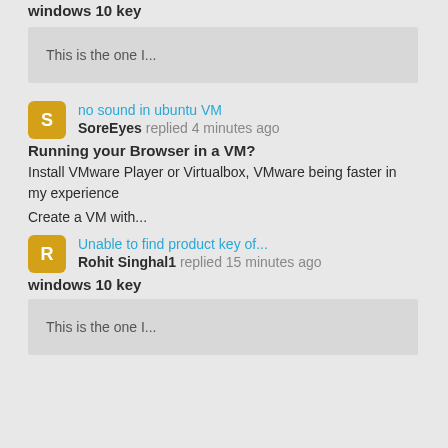windows 10 key
This is the one I...
no sound in ubuntu VM
SoreEyes replied 4 minutes ago
Running your Browser in a VM?
Install VMware Player or Virtualbox, VMware being faster in my experience
Create a VM with...
Unable to find product key of...
Rohit Singhal1 replied 15 minutes ago
windows 10 key
This is the one I...